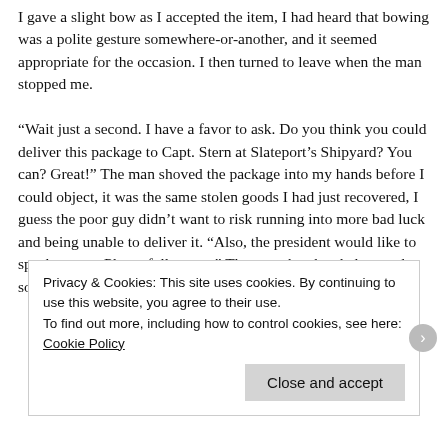I gave a slight bow as I accepted the item, I had heard that bowing was a polite gesture somewhere-or-another, and it seemed appropriate for the occasion. I then turned to leave when the man stopped me.

“Wait just a second. I have a favor to ask. Do you think you could deliver this package to Capt. Stern at Slateport’s Shipyard? You can? Great!” The man shoved the package into my hands before I could object, it was the same stolen goods I had just recovered, I guess the poor guy didn’t want to risk running into more bad luck and being unable to deliver it. “Also, the president would like to speak to you. Please follow me.” The man then headed toward some stairs, with
Privacy & Cookies: This site uses cookies. By continuing to use this website, you agree to their use.
To find out more, including how to control cookies, see here: Cookie Policy